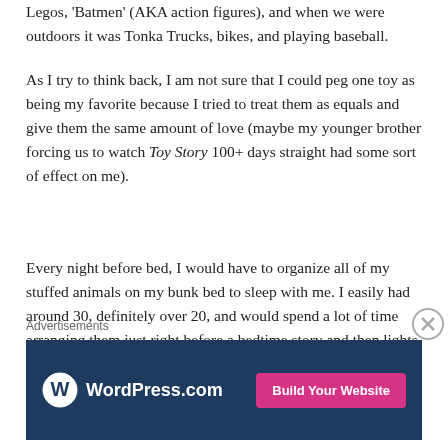Legos, 'Batmen' (AKA action figures), and when we were outdoors it was Tonka Trucks, bikes, and playing baseball.
As I try to think back, I am not sure that I could peg one toy as being my favorite because I tried to treat them as equals and give them the same amount of love (maybe my younger brother forcing us to watch Toy Story 100+ days straight had some sort of effect on me).
Every night before bed, I would have to organize all of my stuffed animals on my bunk bed to sleep with me. I easily had around 30, definitely over 20, and would spend a lot of time arranging them just right before a bedtime story and then lights out. Some of my favorites were a Winnie the Pooh that I still have and is now in my son Zander's room,
Advertisements
[Figure (other): WordPress.com advertisement banner with logo and 'Build Your Website' button]